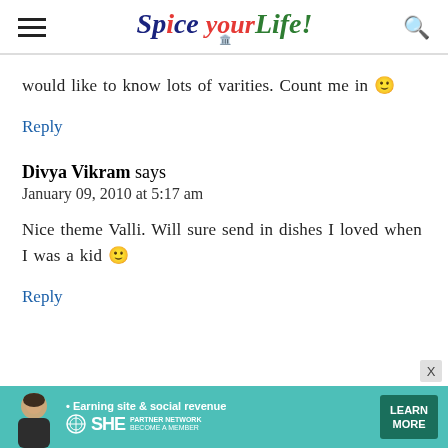Spice your Life!
would like to know lots of varities. Count me in 🙂
Reply
Divya Vikram says
January 09, 2010 at 5:17 am
Nice theme Valli. Will sure send in dishes I loved when I was a kid 🙂
Reply
[Figure (infographic): Advertisement banner: SHE Media Partner Network - Earning site & social revenue. Become a member. Learn More button. Woman's photo on left.]